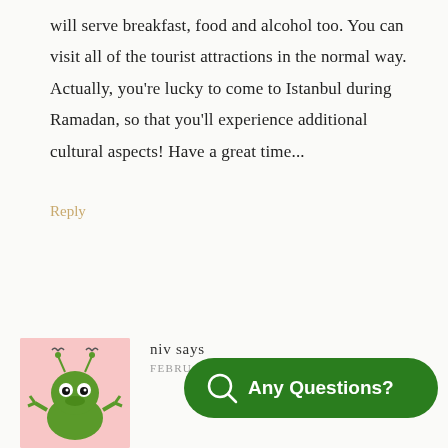will serve breakfast, food and alcohol too. You can visit all of the tourist attractions in the normal way. Actually, you're lucky to come to Istanbul during Ramadan, so that you'll experience additional cultural aspects! Have a great time...
Reply
niv says
FEBRUARY 2019 AT 7:01
[Figure (illustration): Cartoon frog/monster avatar with pink background]
[Figure (other): Green rounded rectangle chat button with magnifying glass icon and text 'Any Questions?']